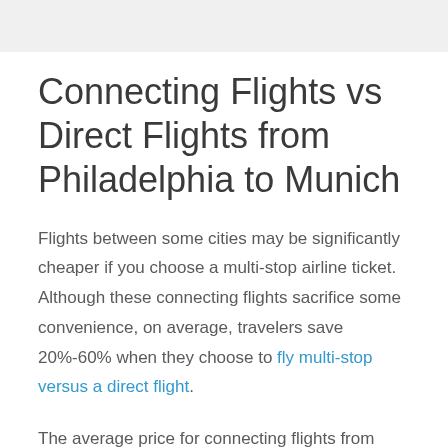Connecting Flights vs Direct Flights from Philadelphia to Munich
Flights between some cities may be significantly cheaper if you choose a multi-stop airline ticket. Although these connecting flights sacrifice some convenience, on average, travelers save 20%-60% when they choose to fly multi-stop versus a direct flight.
The average price for connecting flights from